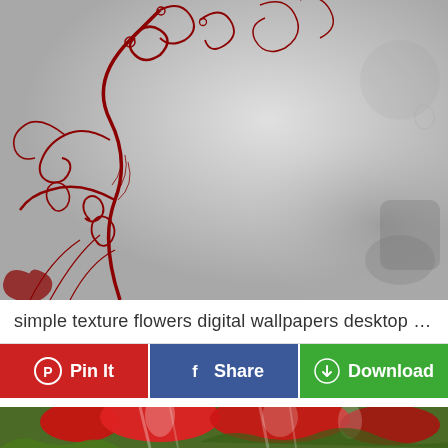[Figure (illustration): Digital wallpaper with red decorative swirling floral/vine pattern on the left side against a grey textured grunge background]
simple texture flowers digital wallpapers desktop backg...
Pin It  Share  Download